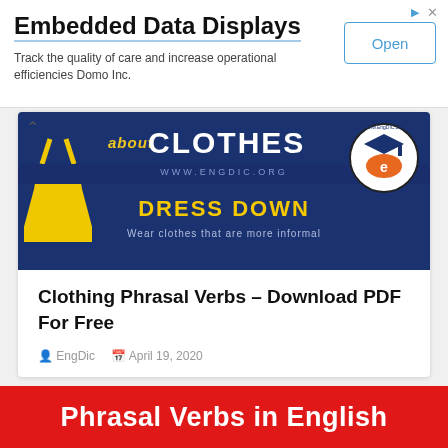Embedded Data Displays
Track the quality of care and increase operational efficiencies Domo Inc.
[Figure (illustration): Blog article card image for Clothing Phrasal Verbs on EngDic.org. Dark navy background with text 'about CLOTHES', 'www.engdic.org', 'DRESS DOWN', 'Wear clothes that are more informal', a yellow dress silhouette on the left, and the EngDic.org logo circle on the right.]
Clothing Phrasal Verbs – Download PDF For Free
EngDic   April 19, 2020
[Figure (illustration): Red banner with white bold text reading 'Phrasal Verbs in English']